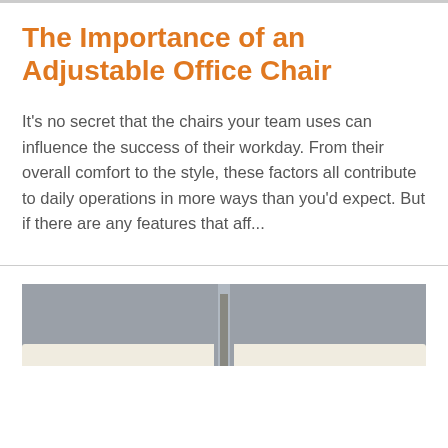The Importance of an Adjustable Office Chair
It's no secret that the chairs your team uses can influence the success of their workday. From their overall comfort to the style, these factors all contribute to daily operations in more ways than you'd expect. But if there are any features that aff...
[Figure (photo): Photo of office furniture showing a desk or conference table with grey partition panels and a white desk surface, viewed from above/front angle]